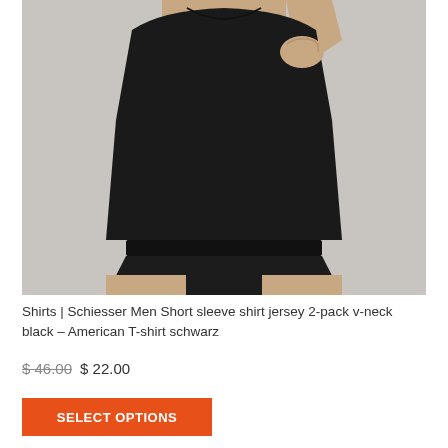[Figure (photo): Man wearing a black short-sleeve v-neck t-shirt and black boxer briefs, posed against a light grey background, holding the shirt slightly at the chest]
Shirts | Schiesser Men Short sleeve shirt jersey 2-pack v-neck black – American T-shirt schwarz
$46.00 $22.00
SELECT OPTIONS